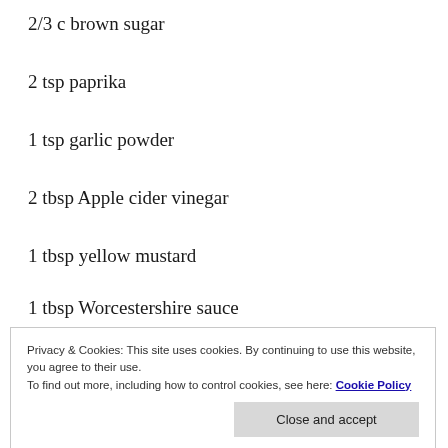2/3 c brown sugar
2 tsp paprika
1 tsp garlic powder
2 tbsp Apple cider vinegar
1 tbsp yellow mustard
1 tbsp Worcestershire sauce
Privacy & Cookies: This site uses cookies. By continuing to use this website, you agree to their use.
To find out more, including how to control cookies, see here: Cookie Policy
Close and accept